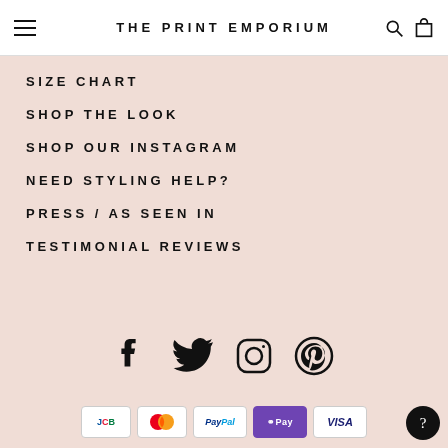THE PRINT EMPORIUM
SIZE CHART
SHOP THE LOOK
SHOP OUR INSTAGRAM
NEED STYLING HELP?
PRESS / AS SEEN IN
TESTIMONIAL REVIEWS
[Figure (infographic): Social media icons row: Facebook, Twitter, Instagram, Pinterest]
[Figure (infographic): Payment method icons: JCB, Mastercard, PayPal, GPay, Visa]